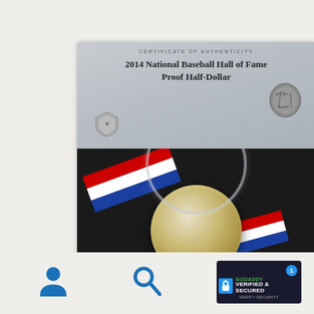[Figure (photo): A 2014 National Baseball Hall of Fame Proof Half-Dollar coin in an open black presentation box. The box lid shows a Certificate of Authenticity with the coin's name, a US Mint shield logo, and a Baseball Hall of Fame coin graphic. The lower half shows the coin in a clear capsule with a red, white, and blue ribbon, all resting on black velvet.]
[Figure (logo): Bottom navigation icons: a blue person/user icon on the left, a blue search/magnifying glass icon in the center, and a GoDaddy Verified & Secured badge on the right with a notification badge showing '1'.]